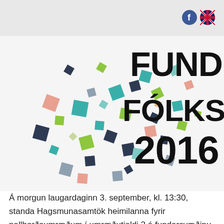[Figure (illustration): FUNDUR FÓLKSINS 2016 banner with colorful scattered square confetti shapes on a light background, partially cropped at top]
Á morgun laugardaginn 3. september, kl. 13:30, standa Hagsmunasamtök heimilanna fyrir pallborðsumræðum í umræðutjaldi 2 á fundarsvæðinu.
Lesa áfram...